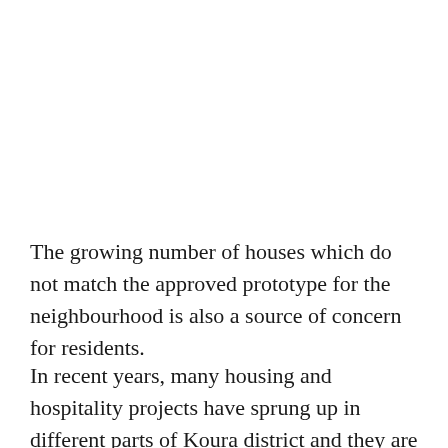The growing number of houses which do not match the approved prototype for the neighbourhood is also a source of concern for residents.
In recent years, many housing and hospitality projects have sprung up in different parts of Koura district and they are largely in violation of